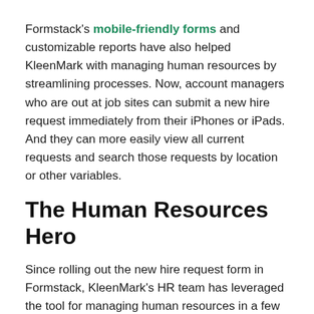Formstack's mobile-friendly forms and customizable reports have also helped KleenMark with managing human resources by streamlining processes. Now, account managers who are out at job sites can submit a new hire request immediately from their iPhones or iPads. And they can more easily view all current requests and search those requests by location or other variables.
The Human Resources Hero
Since rolling out the new hire request form in Formstack, KleenMark's HR team has leveraged the tool for managing human resources in a few